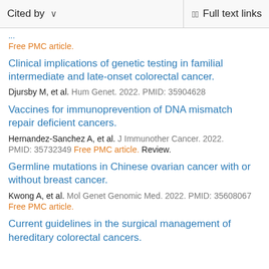Cited by   ∨   Full text links
Free PMC article.
Clinical implications of genetic testing in familial intermediate and late-onset colorectal cancer.
Djursby M, et al. Hum Genet. 2022. PMID: 35904628
Vaccines for immunoprevention of DNA mismatch repair deficient cancers.
Hernandez-Sanchez A, et al. J Immunother Cancer. 2022.
PMID: 35732349 Free PMC article. Review.
Germline mutations in Chinese ovarian cancer with or without breast cancer.
Kwong A, et al. Mol Genet Genomic Med. 2022. PMID: 35608067
Free PMC article.
Current guidelines in the surgical management of hereditary colorectal cancers.